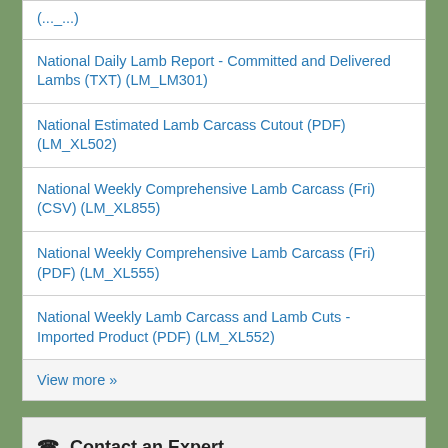National Daily Lamb Report - Committed and Delivered Lambs (TXT) (LM_LM301)
National Estimated Lamb Carcass Cutout (PDF) (LM_XL502)
National Weekly Comprehensive Lamb Carcass (Fri) (CSV) (LM_XL855)
National Weekly Comprehensive Lamb Carcass (Fri) (PDF) (LM_XL555)
National Weekly Lamb Carcass and Lamb Cuts - Imported Product (PDF) (LM_XL552)
View more »
Contact an Expert
There is no contact here.